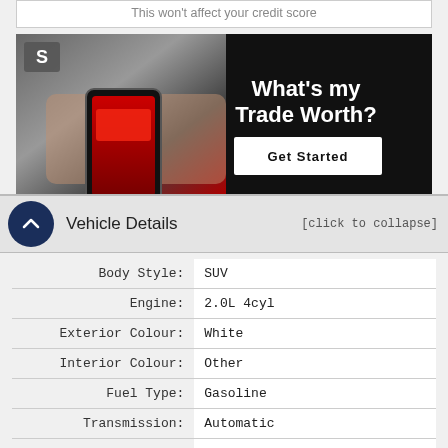This won't affect your credit score
[Figure (photo): Advertisement banner showing hands holding a phone photographing a red car, with text 'What's my Trade Worth?' and a 'Get Started' button on a dark background. Logo 'S' in top left corner.]
Vehicle Details
| Body Style: | SUV |
| Engine: | 2.0L 4cyl |
| Exterior Colour: | White |
| Interior Colour: | Other |
| Fuel Type: | Gasoline |
| Transmission: | Automatic |
| Drivetrain: | All Wheel Drive |
| Stock #: | O00686 |